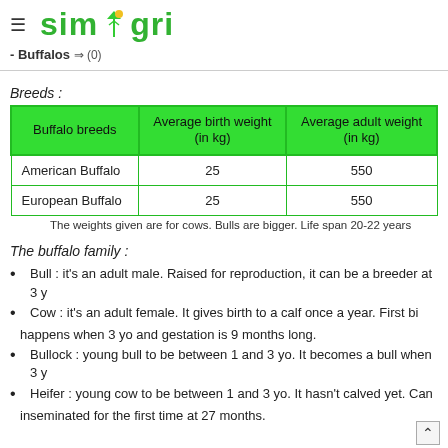SimAgri
- Buffalos (0)
Breeds :
| Buffalo breeds | Average birth weight (in kg) | Average adult weight (in kg) |
| --- | --- | --- |
| American Buffalo | 25 | 550 |
| European Buffalo | 25 | 550 |
The weights given are for cows. Bulls are bigger. Life span 20-22 years
The buffalo family :
Bull : it's an adult male. Raised for reproduction, it can be a breeder at 3 y...
Cow : it's an adult female. It gives birth to a calf once a year. First bi... happens when 3 yo and gestation is 9 months long.
Bullock : young bull to be between 1 and 3 yo. It becomes a bull when 3 y...
Heifer : young cow to be between 1 and 3 yo. It hasn't calved yet. Can... inseminated for the first time at 27 months.